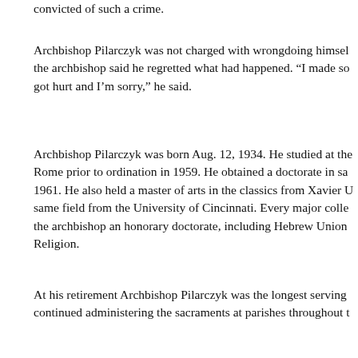convicted of such a crime.
Archbishop Pilarczyk was not charged with wrongdoing himself, the archbishop said he regretted what had happened. “I made so got hurt and I’m sorry,” he said.
Archbishop Pilarczyk was born Aug. 12, 1934. He studied at the Rome prior to ordination in 1959. He obtained a doctorate in sa 1961. He also held a master of arts in the classics from Xavier U same field from the University of Cincinnati. Every major colle the archbishop an honorary doctorate, including Hebrew Union Religion.
At his retirement Archbishop Pilarczyk was the longest serving continued administering the sacraments at parishes throughout t
Funeral services will be private.
Copyright ©2020 Catholic News Service / U.S. Conference of C